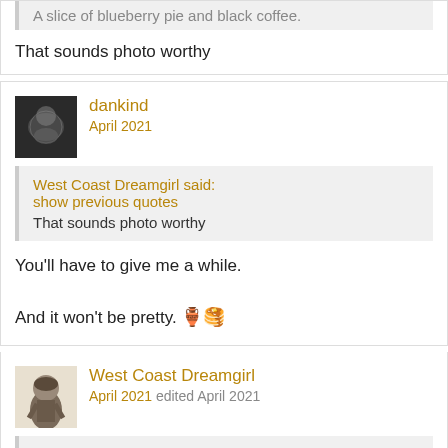A slice of blueberry pie and black coffee.
That sounds photo worthy
dankind
April 2021
West Coast Dreamgirl said: show previous quotes
That sounds photo worthy
You'll have to give me a while.
And it won't be pretty.
West Coast Dreamgirl
April 2021 edited April 2021
dankind said: show previous quotes